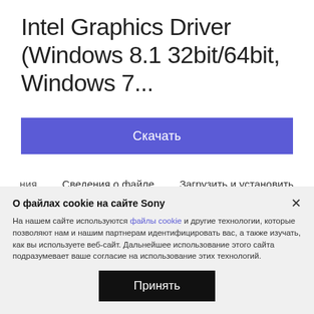Intel Graphics Driver (Windows 8.1 32bit/64bit, Windows 7...
Скачать
ния   Сведения о файле   Загрузить и установить
Казахстан
О файлах cookie на сайте Sony
На нашем сайте используются файлы cookie и другие технологии, которые позволяют нам и нашим партнерам идентифицировать вас, а также изучать, как вы используете веб-сайт. Дальнейшее использование этого сайта подразумевает ваше согласие на использование этих технологий.
Принять